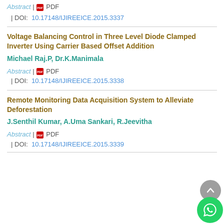Abstract | PDF | DOI: 10.17148/IJIREEICE.2015.3337
Voltage Balancing Control in Three Level Diode Clamped Inverter Using Carrier Based Offset Addition
Michael Raj.P, Dr.K.Manimala
Abstract | PDF | DOI: 10.17148/IJIREEICE.2015.3338
Remote Monitoring Data Acquisition System to Alleviate Deforestation
J.Senthil Kumar, A.Uma Sankari, R.Jeevitha
Abstract | PDF | DOI: 10.17148/IJIREEICE.2015.3339